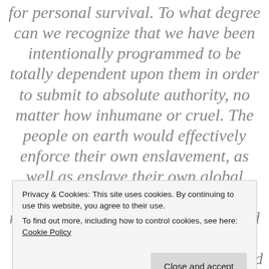for personal survival. To what degree can we recognize that we have been intentionally programmed to be totally dependent upon them in order to submit to absolute authority, no matter how inhumane or cruel. The people on earth would effectively enforce their own enslavement, as well as enslave their own global human family by giving up their rights, their access to knowledge and their…
Privacy & Cookies: This site uses cookies. By continuing to use this website, you agree to their use.
To find out more, including how to control cookies, see here: Cookie Policy
and Controllers use the hidden Mind…